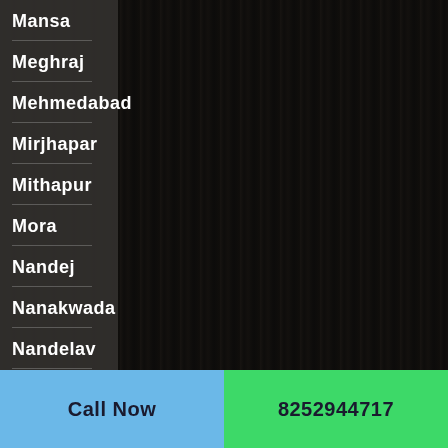Mansa
Meghraj
Mehmedabad
Mirjhapar
Mithapur
Mora
Nandej
Nanakwada
Nandelav
Call Now
8252944717